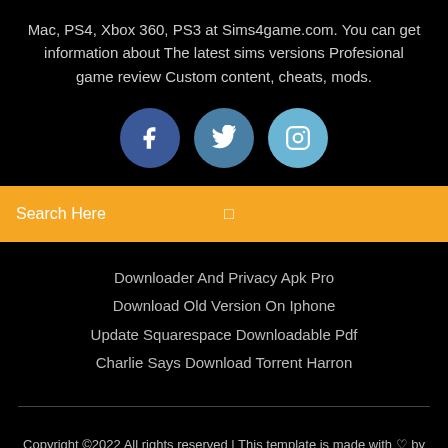Mac, PS4, Xbox 360, PS3 at Sims4game.com. You can get information about The latest sims versions Profesional game review Custom content, cheats, mods.
[Figure (illustration): Three social media icon circles: Facebook (dark blue), Twitter (medium blue), Instagram (light blue)]
Search Here
Downloader And Privacy Apk Pro
Download Old Version On Iphone
Update Squarespace Downloadable Pdf
Charlie Says Download Torrent Harron
Copyright ©2022 All rights reserved | This template is made with ♡ by Colorlib